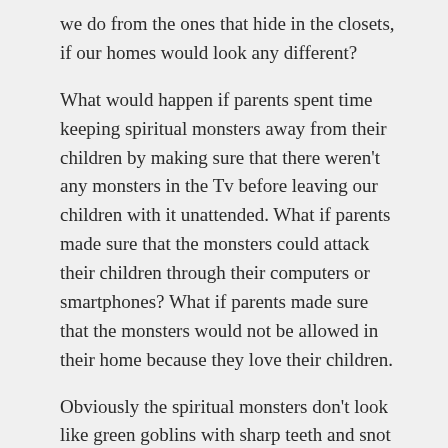we do from the ones that hide in the closets, if our homes would look any different?
What would happen if parents spent time keeping spiritual monsters away from their children by making sure that there weren't any monsters in the Tv before leaving our children with it unattended. What if parents made sure that the monsters could attack their children through their computers or smartphones? What if parents made sure that the monsters would not be allowed in their home because they love their children.
Obviously the spiritual monsters don't look like green goblins with sharp teeth and snot running out of their noses. They look attractive, they sound pleasing, they are enticing, they are dangerous. Monsters are everywhere. Parents, let's make sure we protect our